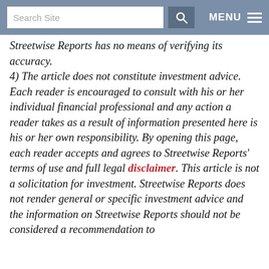Search Site | MENU
Streetwise Reports has no means of verifying its accuracy. 4) The article does not constitute investment advice. Each reader is encouraged to consult with his or her individual financial professional and any action a reader takes as a result of information presented here is his or her own responsibility. By opening this page, each reader accepts and agrees to Streetwise Reports' terms of use and full legal disclaimer. This article is not a solicitation for investment. Streetwise Reports does not render general or specific investment advice and the information on Streetwise Reports should not be considered a recommendation to